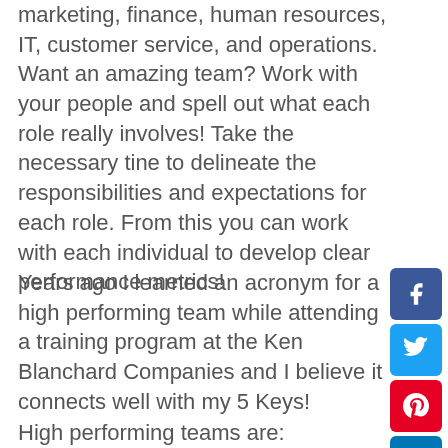marketing, finance, human resources, IT, customer service, and operations. Want an amazing team? Work with your people and spell out what each role really involves! Take the necessary tine to delineate the responsibilities and expectations for each role. From this you can work with each individual to develop clear performance metrics!
Years ago I learned an acronym for a high performing team while attending a training program at the Ken Blanchard Companies and I believe it connects well with my 5 Keys!
High performing teams are: (PERFORM)